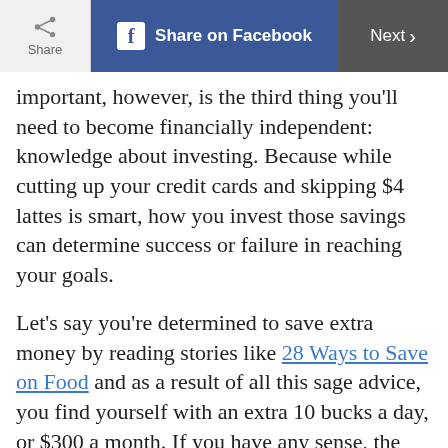Share | Share on Facebook | Next
important, however, is the third thing you'll need to become financially independent: knowledge about investing. Because while cutting up your credit cards and skipping $4 lattes is smart, how you invest those savings can determine success or failure in reaching your goals.
Let's say you're determined to save extra money by reading stories like 28 Ways to Save on Food and as a result of all this sage advice, you find yourself with an extra 10 bucks a day, or $300 a month. If you have any sense, the first thing you'll do is use that new-found money to pay